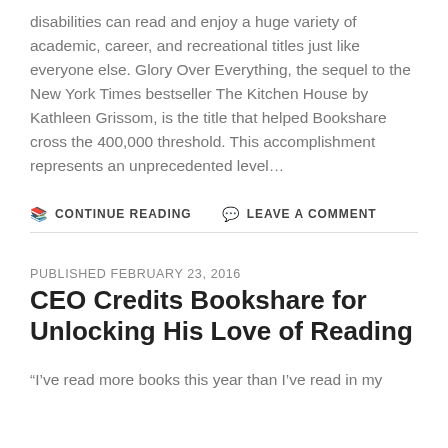disabilities can read and enjoy a huge variety of academic, career, and recreational titles just like everyone else. Glory Over Everything, the sequel to the New York Times bestseller The Kitchen House by Kathleen Grissom, is the title that helped Bookshare cross the 400,000 threshold. This accomplishment represents an unprecedented level...
CONTINUE READING   LEAVE A COMMENT
PUBLISHED FEBRUARY 23, 2016
CEO Credits Bookshare for Unlocking His Love of Reading
“I’ve read more books this year than I’ve read in my